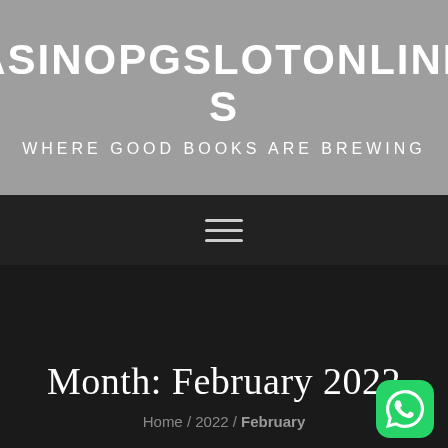CASINOPGSLOTONLINEUS
WHERE GOOD BOOKS ARE BREWING
[Figure (other): Hamburger menu icon (three horizontal lines)]
Month: February 2022
Home / 2022 / February
[Figure (logo): WhatsApp icon button (green rounded square with phone handset logo)]